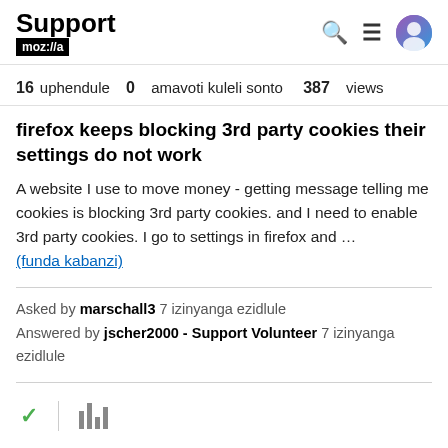Support moz://a
16 uphendule  0  amavoti kuleli sonto  387  views
firefox keeps blocking 3rd party cookies their settings do not work
A website I use to move money - getting message telling me cookies is blocking 3rd party cookies. and I need to enable 3rd party cookies. I go to settings in firefox and … (funda kabanzi)
Asked by marschall3 7 izinyanga ezidlule
Answered by jscher2000 - Support Volunteer 7 izinyanga ezidlule